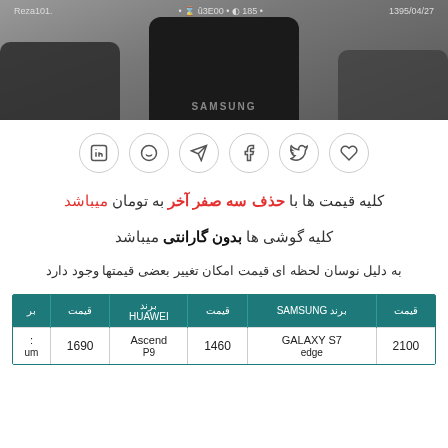[Figure (photo): Screenshot of smartphone comparison website showing two phones (Samsung in center, another on sides) with site header overlay showing Persian date 1395/04/27 and username .Reza101]
[Figure (infographic): Social sharing icons in circles: LinkedIn, WhatsApp, Telegram, Facebook, Twitter, Heart/Like]
کلیه قیمت ها با حذف سه صفر آخر به تومان میباشد
کلیه گوشی ها بدون گارانتی میباشد
به دلیل نوسان لحظه ای قیمت امکان تغییر بعضی قیمتها وجود دارد
| قیمت | برند SAMSUNG | قیمت | برند
HUAWEI | قیمت | بر |
| --- | --- | --- | --- | --- | --- |
| 2100 | GALAXY S7
edge | 1460 | Ascend
P9 | 1690 | :‌
um |